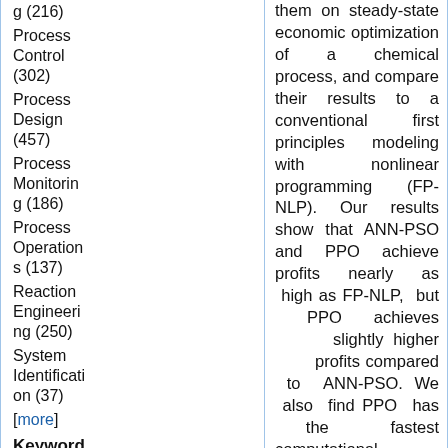g (216)
Process Control (302)
Process Design (457)
Process Monitoring (186)
Process Operations (137)
Reaction Engineering (250)
System Identification (37)
[more]
Keyword
Adsorption (56)
A...
them on steady-state economic optimization of a chemical process, and compare their results to a conventional first principles modeling with nonlinear programming (FP-NLP). Our results show that ANN-PSO and PPO achieve profits nearly as high as FP-NLP, but PPO achieves slightly higher profits compared to ANN-PSO. We also find PPO has the fastest computational times, 10 and 10,000 times faster than FP-NLP and ANN-PSO, respectively. However, PPO requires more training data than ANN-PSO